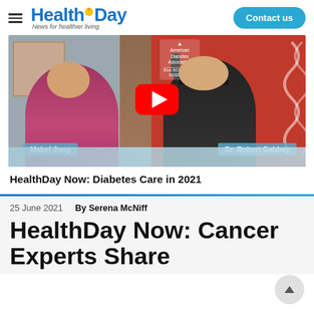HealthDay — News for healthier living | Contact us
[Figure (screenshot): Video thumbnail showing two people in a split-screen video call. Left: Mabel Jong (woman in pink/magenta top with bookshelves in background). Right: Dr. Robert Gabbay (man in dark jacket with headset, red background with DNA imagery). A YouTube play button overlay appears in the center. ADA logo visible top-right of video.]
HealthDay Now: Diabetes Care in 2021
25 June 2021    By Serena McNiff
HealthDay Now: Cancer Experts Share